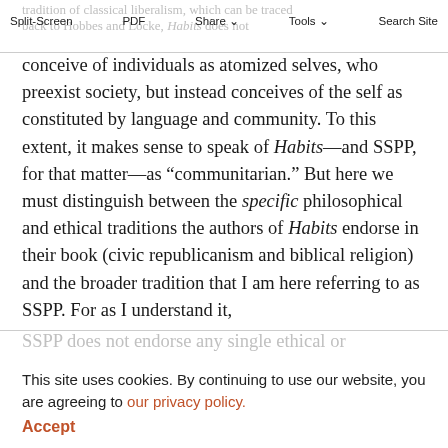tradition of classical liberalism, which can be traced back to Hobbes and Locke, Habits does not | Split-Screen  PDF  Share  Tools  Search Site
conceive of individuals as atomized selves, who preexist society, but instead conceives of the self as constituted by language and community. To this extent, it makes sense to speak of Habits—and SSPP, for that matter—as “communitarian.” But here we must distinguish between the specific philosophical and ethical traditions the authors of Habits endorse in their book (civic republicanism and biblical religion) and the broader tradition that I am here referring to as SSPP. For as I understand it,
SSPP does not endorse any single ethical or philosophical tradition, except to claim that it holds as a key component of the good life and the good society an interest in keeping the public
This site uses cookies. By continuing to use our website, you are agreeing to our privacy policy. Accept